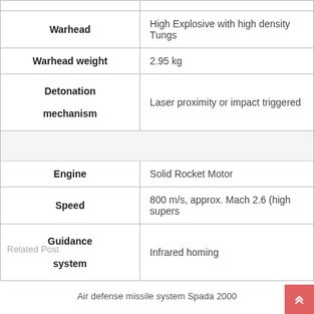| Property | Value |
| --- | --- |
| Warhead | High Explosive with high density Tungs… |
| Warhead weight | 2.95 kg |
| Detonation mechanism | Laser proximity or impact triggered |
|  |  |
| Engine | Solid Rocket Motor |
| Speed | 800 m/s, approx. Mach 2.6 (high supers… |
| Guidance system | Infrared homing |
Related Post
Air defense missile system Spada 2000